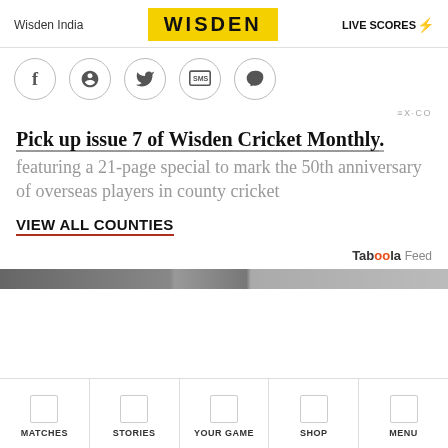Wisden India | WISDEN | LIVE SCORES
[Figure (illustration): Social media sharing icons in circles: Facebook, Pinterest, Twitter, SMS, Messenger]
EX-CO
Pick up issue 7 of Wisden Cricket Monthly.
featuring a 21-page special to mark the 50th anniversary of overseas players in county cricket
VIEW ALL COUNTIES
Taboola Feed
[Figure (photo): Partial image strip showing cricket-related photos]
MATCHES | STORIES | YOUR GAME | SHOP | MENU